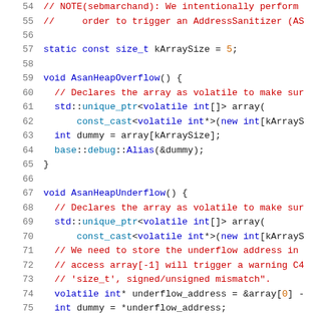Code listing showing C++ functions AsanHeapOverflow and AsanHeapUnderflow with line numbers 54-75
[Figure (screenshot): C++ source code with syntax highlighting showing lines 54-75. Lines 54-55 show a NOTE comment about AddressSanitizer. Line 57 defines static const size_t kArraySize = 5. Lines 59-65 define void AsanHeapOverflow() function. Lines 67-75 define void AsanHeapUnderflow() function.]